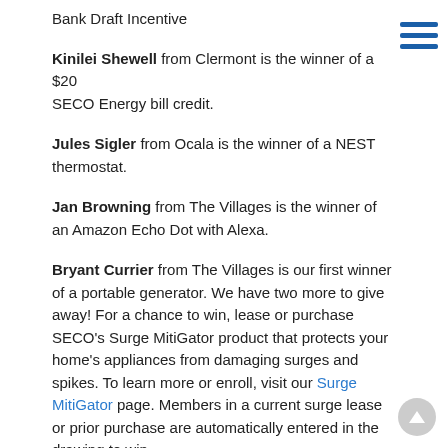Bank Draft Incentive
Kinilei Shewell from Clermont is the winner of a $20 SECO Energy bill credit.
Jules Sigler from Ocala is the winner of a NEST thermostat.
Jan Browning from The Villages is the winner of an Amazon Echo Dot with Alexa.
Bryant Currier from The Villages is our first winner of a portable generator. We have two more to give away! For a chance to win, lease or purchase SECO's Surge MitiGator product that protects your home's appliances from damaging surges and spikes. To learn more or enroll, visit our Surge MitiGator page. Members in a current surge lease or prior purchase are automatically entered in the drawing to win.